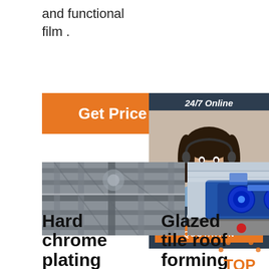and functional film .
[Figure (other): Orange 'Get Price' button]
[Figure (other): 24/7 Online chat widget with agent photo and 'Click here for free chat!' and QUOTATION button]
[Figure (photo): Hard chrome plating machine - metal industrial structure]
[Figure (photo): Glazed tile roof forming machine - blue industrial machinery]
[Figure (photo): Glazed Tile Machine Factory - partially visible industrial machine]
Hard chrome plating machine
Glazed tile roof forming machine
Glazed Tile Machine Factory